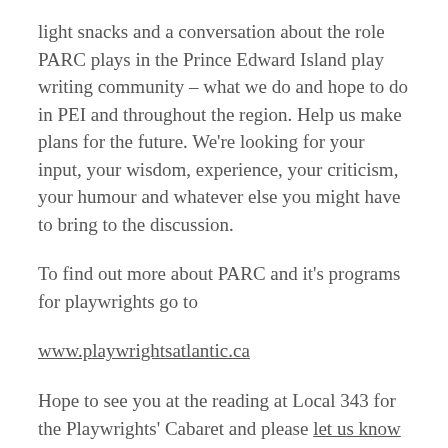light snacks and a conversation about the role PARC plays in the Prince Edward Island play writing community – what we do and hope to do in PEI and throughout the region. Help us make plans for the future. We're looking for your input, your wisdom, experience, your criticism, your humour and whatever else you might have to bring to the discussion.
To find out more about PARC and it's programs for playwrights go to
www.playwrightsatlantic.ca
Hope to see you at the reading at Local 343 for the Playwrights' Cabaret and please let us know if you can join us at the meeting on Friday at 10am  – contact us